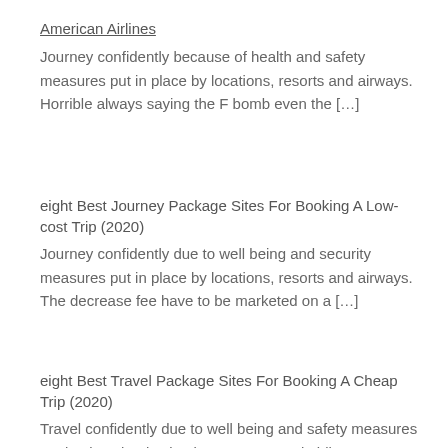American Airlines
Journey confidently because of health and safety measures put in place by locations, resorts and airways. Horrible always saying the F bomb even the […]
eight Best Journey Package Sites For Booking A Low-cost Trip (2020)
Journey confidently due to well being and security measures put in place by locations, resorts and airways. The decrease fee have to be marketed on a […]
eight Best Travel Package Sites For Booking A Cheap Trip (2020)
Travel confidently due to well being and safety measures put in place by destinations, resorts and airlines. Expedia has loads of useful filters to […]